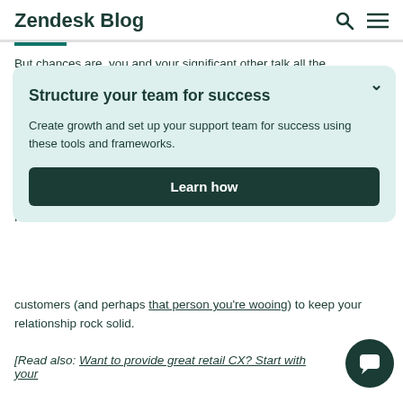Zendesk Blog
But chances are, you and your significant other talk all the ti... c... p... s...
[Figure (infographic): Popup card with heading 'Structure your team for success', description 'Create growth and set up your support team for success using these tools and frameworks.', and a 'Learn how' button on dark green background.]
customers (and perhaps that person you’re wooing) to keep your relationship rock solid.
[Read also: Want to provide great retail CX? Start with your